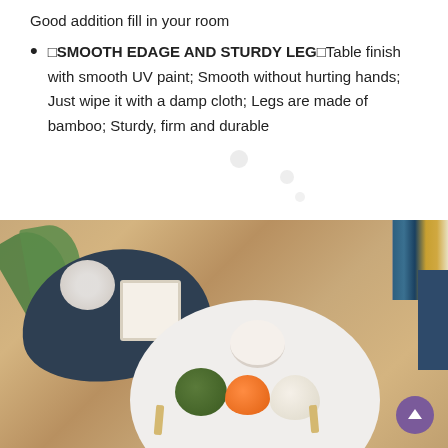Good addition fill in your room
🔲SMOOTH EDAGE AND STURDY LEG🔲Table finish with smooth UV paint; Smooth without hurting hands; Just wipe it with a damp cloth; Legs are made of bamboo; Sturdy, firm and durable
[Figure (photo): Overhead/angled view of a modern living room setup showing a dark navy oval coffee table with a white flower arrangement and photo frame, and a round white coffee table with a bowl, decorative pumpkins and other items, on a herringbone wood floor. Books and a blue sofa are visible in the top right corner.]